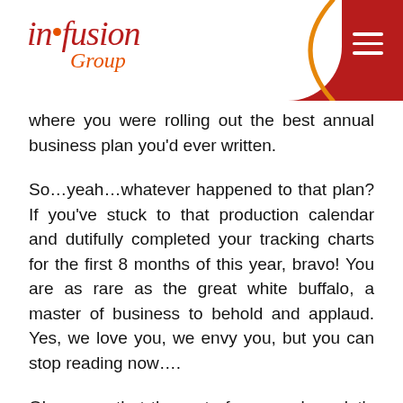[Figure (logo): Infusion Group logo with red and orange text on white background, with red navigation bar and hamburger menu icon]
where you were rolling out the best annual business plan you'd ever written.
So…yeah…whatever happened to that plan? If you've stuck to that production calendar and dutifully completed your tracking charts for the first 8 months of this year, bravo! You are as rare as the great white buffalo, a master of business to behold and applaud. Yes, we love you, we envy you, but you can stop reading now….
Okay, now that the rest of us are alone, let's talk about why we keep finding ourselves in this